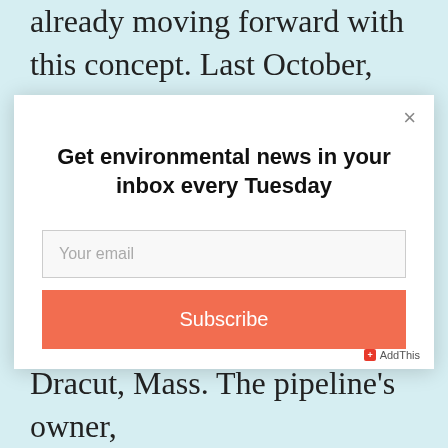already moving forward with this concept. Last October, Pieridae Energy filed a federal application to send domestic natural gas from
[Figure (screenshot): Email newsletter signup modal dialog with title 'Get environmental news in your inbox every Tuesday', an email input field, and an orange Subscribe button]
Dracut, Mass. The pipeline's owner,